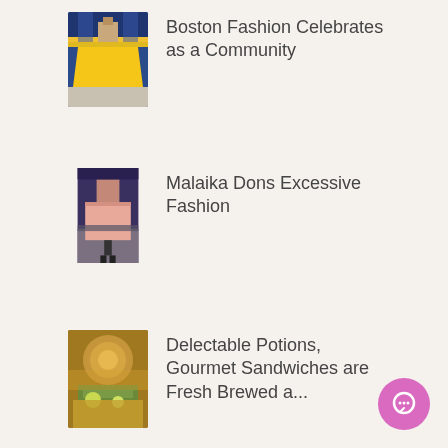[Figure (photo): Thumbnail image of a fashion show with a model in a yellow dress]
Boston Fashion Celebrates as a Community
[Figure (photo): Thumbnail image of a model in a pink suit on a runway]
Malaika Dons Excessive Fashion
[Figure (photo): Thumbnail image of drinks and gourmet sandwiches food items]
Delectable Potions, Gourmet Sandwiches are Fresh Brewed a...